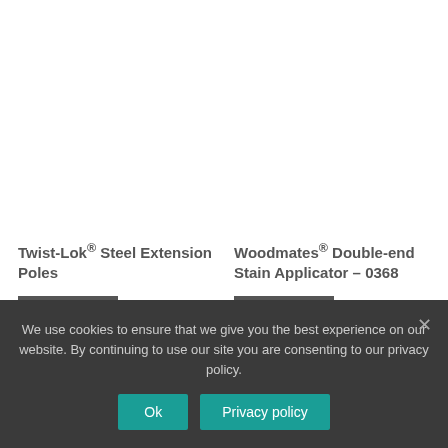[Figure (photo): Product image placeholder area for Twist-Lok Steel Extension Poles (white/empty image area)]
[Figure (photo): Product image placeholder area for Woodmates Double-end Stain Applicator 0368 (white/empty image area)]
Twist-Lok® Steel Extension Poles
Woodmates® Double-end Stain Applicator – 0368
Read more
Read more
We use cookies to ensure that we give you the best experience on our website. By continuing to use our site you are consenting to our privacy policy.
Ok
Privacy policy